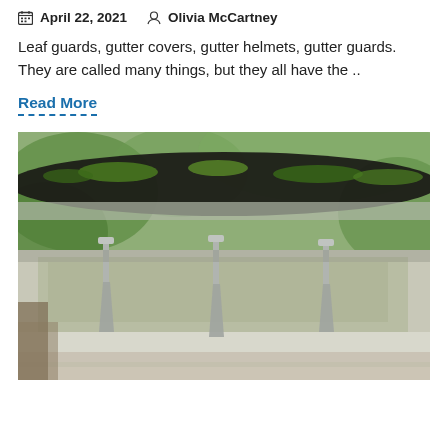April 22, 2021   Olivia McCartney
Leaf guards, gutter covers, gutter helmets, gutter guards. They are called many things, but they all have the ..
Read More
[Figure (photo): Close-up photograph of a house gutter/roof edge covered in green moss and dirt, with metal gutter brackets visible, blurred green foliage and ground in background.]